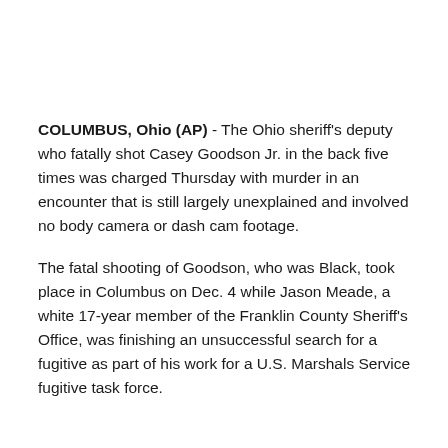COLUMBUS, Ohio (AP) - The Ohio sheriff's deputy who fatally shot Casey Goodson Jr. in the back five times was charged Thursday with murder in an encounter that is still largely unexplained and involved no body camera or dash cam footage.
The fatal shooting of Goodson, who was Black, took place in Columbus on Dec. 4 while Jason Meade, a white 17-year member of the Franklin County Sheriff's Office, was finishing an unsuccessful search for a fugitive as part of his work for a U.S. Marshals Service fugitive task force.